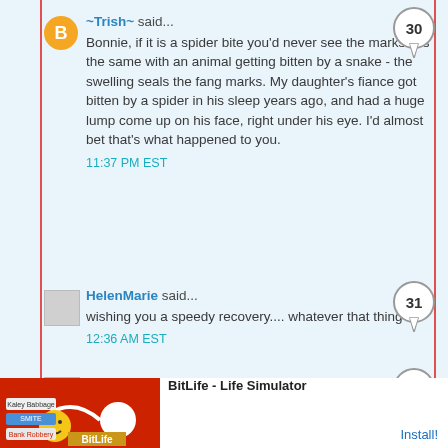~Trish~ said...
Bonnie, if it is a spider bite you'd never see the marks. It's the same with an animal getting bitten by a snake - the swelling seals the fang marks. My daughter's fiance got bitten by a spider in his sleep years ago, and had a huge lump come up on his face, right under his eye. I'd almost bet that's what happened to you.
11:37 PM EST
HelenMarie said...
wishing you a speedy recovery.... whatever that thing is.
12:36 AM EST
Pat D said...
Amen, hope all is better sooner than later!!!
[Figure (screenshot): BitLife - Life Simulator advertisement banner at bottom of page]